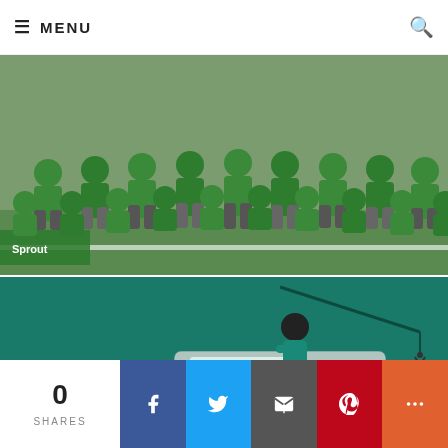≡ MENU
[Figure (photo): Group photo of people wearing green shirts seated and kneeling outdoors on grass, with a 'Sprout' logo visible on bottom-left]
[Figure (illustration): Teal background illustration showing stylized figures building/designing a website interface, with text overlay 'Why Your Business Must Have a Multi...']
0
SHARES